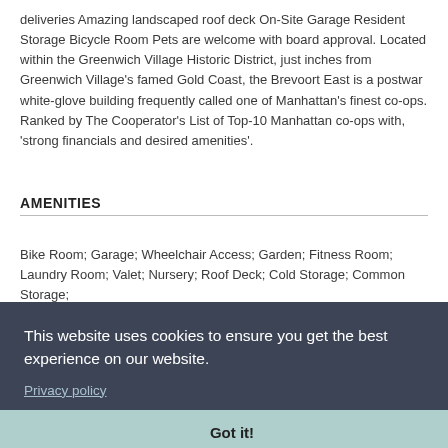deliveries Amazing landscaped roof deck On-Site Garage Resident Storage Bicycle Room Pets are welcome with board approval. Located within the Greenwich Village Historic District, just inches from Greenwich Village's famed Gold Coast, the Brevoort East is a postwar white-glove building frequently called one of Manhattan's finest co-ops. Ranked by The Cooperator's List of Top-10 Manhattan co-ops with, 'strong financials and desired amenities'.
AMENITIES
Bike Room; Garage; Wheelchair Access; Garden; Fitness Room; Laundry Room; Valet; Nursery; Roof Deck; Cold Storage; Common Storage;
This website uses cookies to ensure you get the best experience on our website.
Privacy policy
Got it!